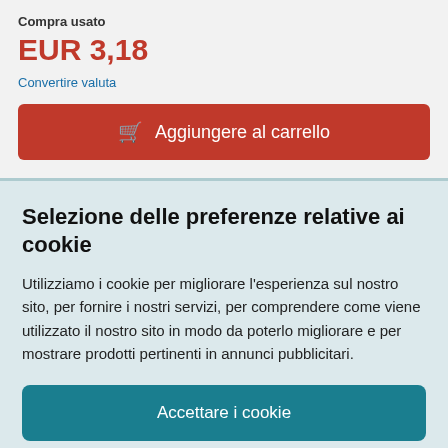Compra usato
EUR 3,18
Convertire valuta
Aggiungere al carrello
Selezione delle preferenze relative ai cookie
Utilizziamo i cookie per migliorare l'esperienza sul nostro sito, per fornire i nostri servizi, per comprendere come viene utilizzato il nostro sito in modo da poterlo migliorare e per mostrare prodotti pertinenti in annunci pubblicitari.
Accettare i cookie
Personalizzare i cookie